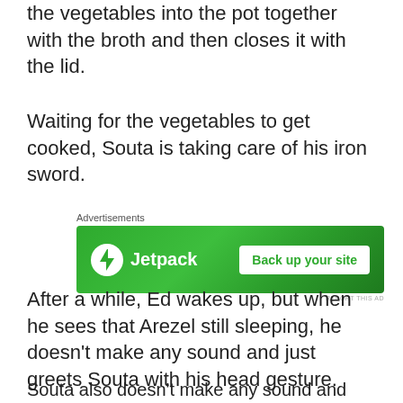After he finished cutting the ingredients, he puts the vegetables into the pot together with the broth and then closes it with the lid.
Waiting for the vegetables to get cooked, Souta is taking care of his iron sword.
[Figure (other): Jetpack advertisement banner with green background. Shows Jetpack logo with lightning bolt icon on left and 'Back up your site' button on right.]
After a while, Ed wakes up, but when he sees that Arezel still sleeping, he doesn't make any sound and just greets Souta with his head gesture.
Souta also doesn't make any sound and returns the greeting.